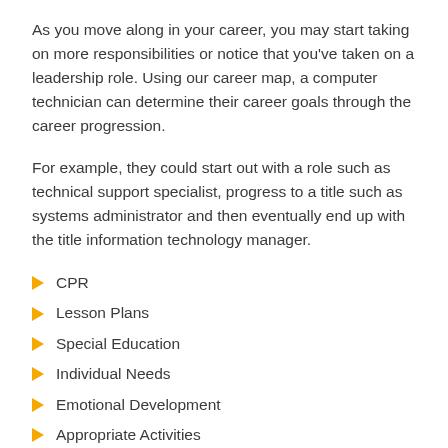As you move along in your career, you may start taking on more responsibilities or notice that you've taken on a leadership role. Using our career map, a computer technician can determine their career goals through the career progression.
For example, they could start out with a role such as technical support specialist, progress to a title such as systems administrator and then eventually end up with the title information technology manager.
CPR
Lesson Plans
Special Education
Individual Needs
Emotional Development
Appropriate Activities
Daily Activities